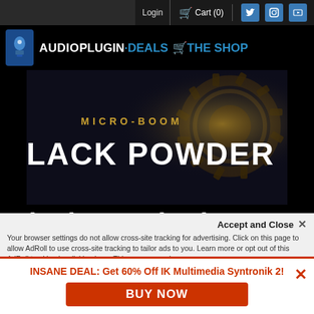Login  Cart (0)  [Facebook] [Twitter] [Instagram] [YouTube]
[Figure (logo): AudioPlugin.Deals THE SHOP logo with bell icon]
[Figure (photo): Micro-Boom Black Powder product banner image - dark industrial background with gears, text reads MICRO-BOOM BLACK POWDER]
Black Powder by BOOM Library
Accept and Close ×
Your browser settings do not allow cross-site tracking for advertising. Click on this page to allow AdRoll to use cross-site tracking to tailor ads to you. Learn more or opt out of this AdRoll tracking by clicking here. This message only appears once.
INSANE DEAL: Get 60% Off IK Multimedia Syntronik 2!
BUY NOW